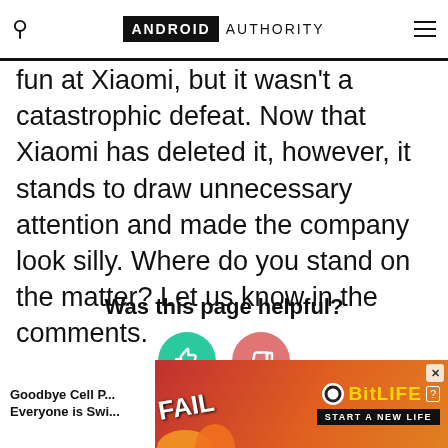ANDROID AUTHORITY
fun at Xiaomi, but it wasn't a catastrophic defeat. Now that Xiaomi has deleted it, however, it stands to draw unnecessary attention and made the company look silly. Where do you stand on the matter? Let us know in the comments.
Was this page helpful?
[Figure (infographic): Two circular buttons: thumbs up (green/teal) and thumbs down (red/salmon) for page feedback]
Goodbye Cell P... Everyone is Swi...
[Figure (photo): BitLife advertisement banner showing 'FAIL' text, animated character, flames, and 'START A NEW LIFE' tagline]